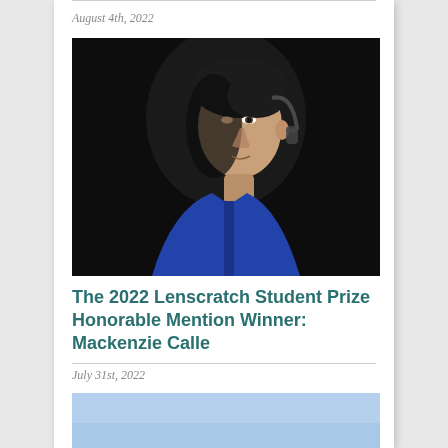August 4th, 2022
[Figure (photo): Dark portrait photo of a person wearing a blue jacket, face partially shadowed, looking directly at the camera]
The 2022 Lenscratch Student Prize Honorable Mention Winner: Mackenzie Calle
July 31st, 2022
[Figure (photo): Landscape photo showing an open flat area with a road, trees in the background, and a blue sky with small figures visible in the distance]